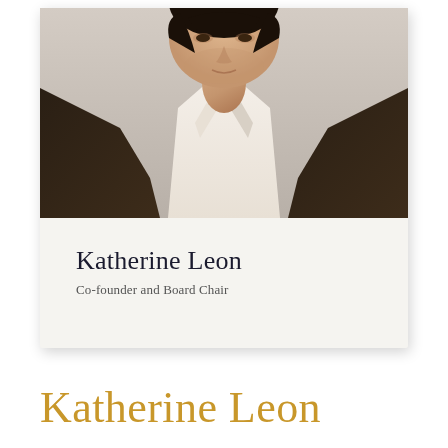[Figure (photo): Professional headshot portrait of Katherine Leon, a woman with short dark hair wearing a dark brown blazer over a white collared shirt, photographed against a light background]
Katherine Leon
Co-founder and Board Chair
Katherine Leon